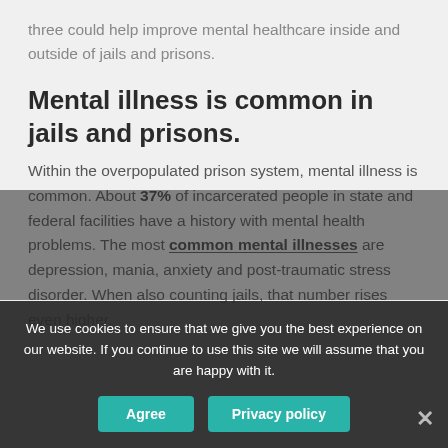three could help improve mental healthcare inside and outside of jails and prisons.
Mental illness is common in jails and prisons.
Within the overpopulated prison system, mental illness is common. About 37% of incarcerated people in state and federal facilities have a history with mental health problems. The most common mental illnesses are depression, mania, anxiety and post-traumatic stress disorder. When also counting jails, that number rises even higher.
We use cookies to ensure that we give you the best experience on our website. If you continue to use this site we will assume that you are happy with it.